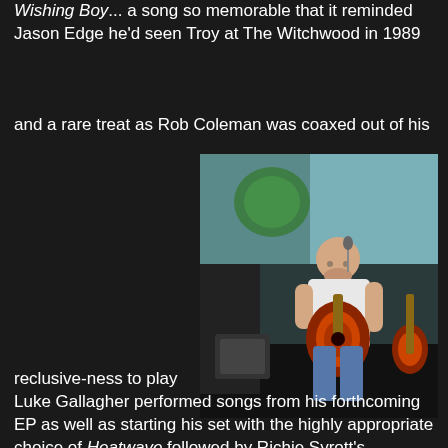Wishing Boy... a song so memorable that it reminded Jason Edge he'd seen Troy at The Witchwood in 1989
and a rare treat as Rob Coleman was coaxed out of his
[Figure (photo): A bald man sitting on stage playing an acoustic guitar in front of a microphone. Behind him is a projection screen with a green/teal graphic. Another guitar is visible on the right side of the stage.]
reclusive-ness to play
Luke Gallagher performed songs from his forthcoming EP as well as starting his set with the highly appropriate choice of Heatwave followed by Richie Syrott's remarkable blend of